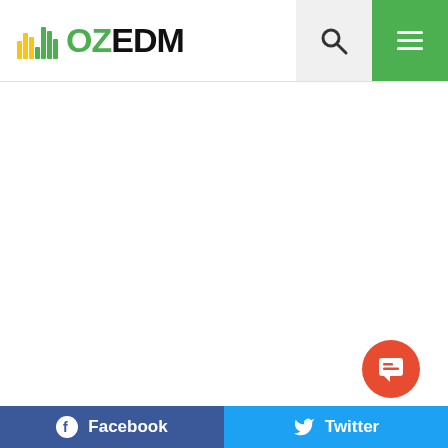[Figure (logo): OZEDM logo with colorful equalizer bar icon on the left and OZEDM text in green and black]
[Figure (other): Search icon (magnifying glass) in header search area]
[Figure (other): Hamburger menu icon (three horizontal white lines) on green background]
[Figure (other): Red circular chat/comment bubble button in lower right area]
Facebook
Twitter